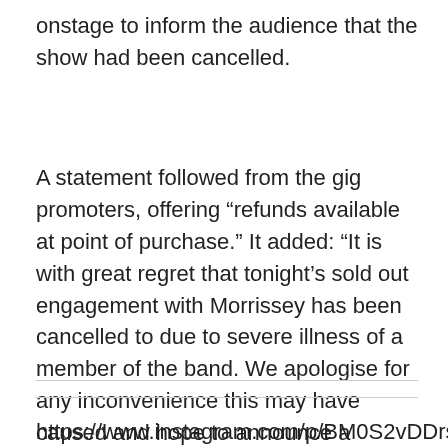onstage to inform the audience that the show had been cancelled.
A statement followed from the gig promoters, offering “refunds available at point of purchase.” It added: “It is with great regret that tonight’s sold out engagement with Morrissey has been cancelled to due to severe illness of a member of the band. We apologise for any inconvenience this may have caused and hope to announce a rescheduled date soon.”
https://www.instagram.com/p/BM0S2vDDrs6/